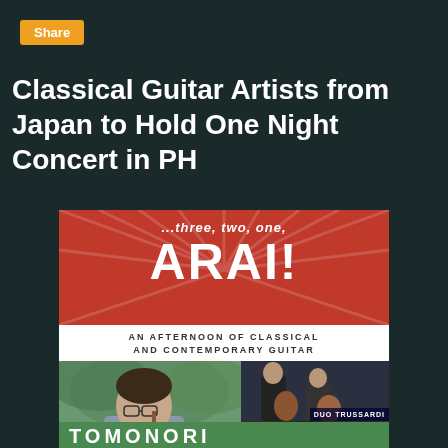Share
Classical Guitar Artists from Japan to Hold One Night Concert in PH
[Figure (illustration): Concert poster for '...three, two, one, ARAI!' - An Afternoon of Classical and Contemporary Guitar. Features photos of guitarist Tomonori, Duo Trussardi, and Sting Asstores on a red and white background with green footer.]